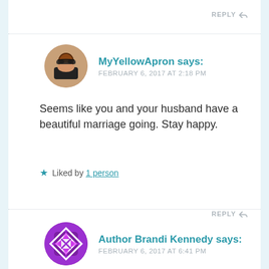REPLY
[Figure (photo): Circular avatar photo of a woman with dark hair and sunglasses, representing MyYellowApron commenter]
MyYellowApron says:
FEBRUARY 6, 2017 AT 2:18 PM
Seems like you and your husband have a beautiful marriage going. Stay happy.
★ Liked by 1 person
REPLY
[Figure (logo): Circular purple logo with geometric diamond cross pattern, representing Author Brandi Kennedy]
Author Brandi Kennedy says:
FEBRUARY 6, 2017 AT 6:41 PM